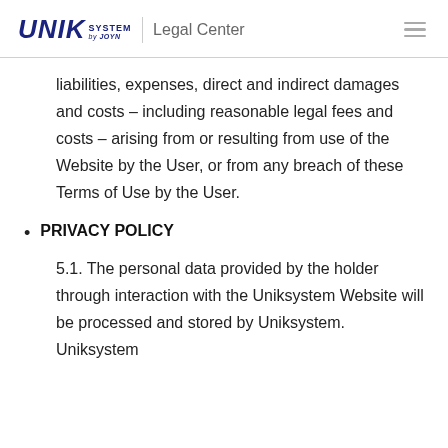UNIK SYSTEM by JOYN — Legal Center
liabilities, expenses, direct and indirect damages and costs – including reasonable legal fees and costs – arising from or resulting from use of the Website by the User, or from any breach of these Terms of Use by the User.
PRIVACY POLICY
5.1. The personal data provided by the holder through interaction with the Uniksystem Website will be processed and stored by Uniksystem. Uniksystem